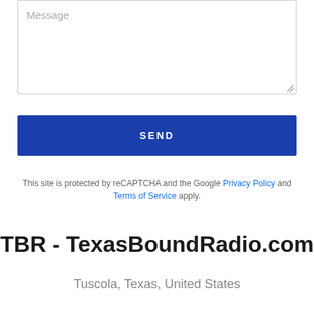Message
SEND
This site is protected by reCAPTCHA and the Google Privacy Policy and Terms of Service apply.
TBR - TexasBoundRadio.com
Tuscola, Texas, United States